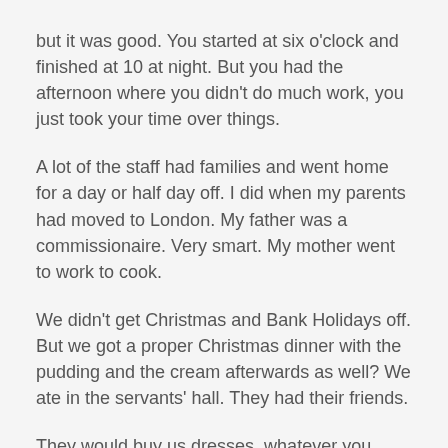but it was good. You started at six o'clock and finished at 10 at night. But you had the afternoon where you didn't do much work, you just took your time over things.
A lot of the staff had families and went home for a day or half day off. I did when my parents had moved to London. My father was a commissionaire. Very smart. My mother went to work to cook.
We didn't get Christmas and Bank Holidays off. But we got a proper Christmas dinner with the pudding and the cream afterwards as well? We ate in the servants' hall. They had their friends.
They would buy us dresses, whatever you wanted.